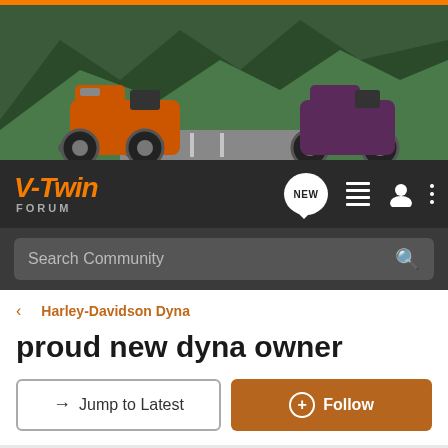[Figure (photo): Banner photo of two Harley-Davidson motorcycles (orange and dark colored) on a road with green forested mountains in the background]
V-Twin FORUM
Search Community
< Harley-Davidson Dyna
proud new dyna owner
→ Jump to Latest
+ Follow
1 - 10 of 10 Posts
bdog1234 · Premium Member
Joined Dec 14, 2005 · 101 Posts